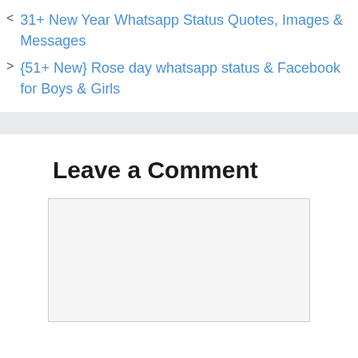< 31+ New Year Whatsapp Status Quotes, Images & Messages
> {51+ New} Rose day whatsapp status & Facebook for Boys & Girls
Leave a Comment